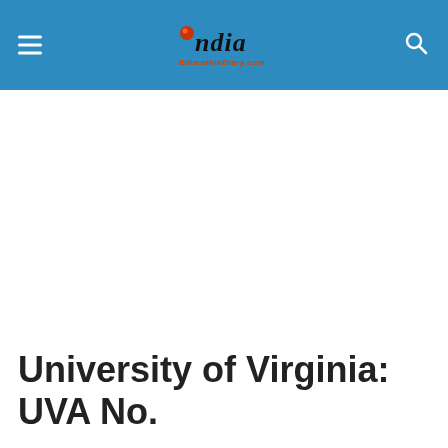India EducationDiary.com
University of Virginia: UVA No.